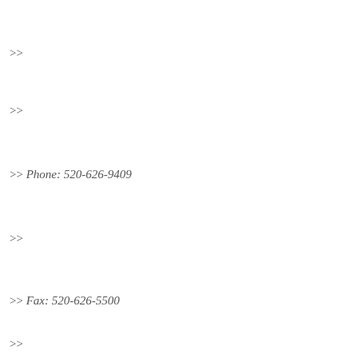>>
>>
>> Phone: 520-626-9409
>>
>> Fax: 520-626-5500
>>